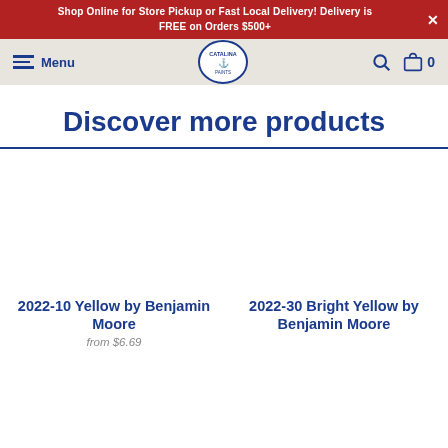Shop Online for Store Pickup or Fast Local Delivery! Delivery is FREE on Orders $500+
[Figure (logo): Catalina Paints logo — circular badge with anchor and company name]
Discover more products
2022-10 Yellow by Benjamin Moore
from $6.69
2022-30 Bright Yellow by Benjamin Moore